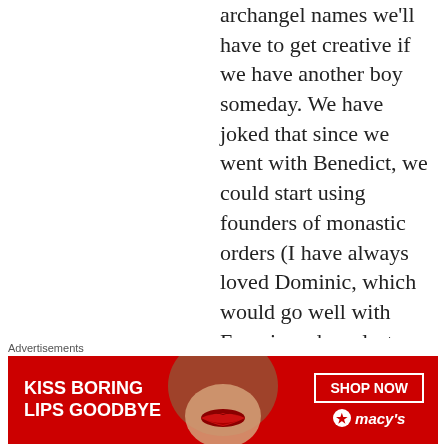archangel names we'll have to get creative if we have another boy someday. We have joked that since we went with Benedict, we could start using founders of monastic orders (I have always loved Dominic, which would go well with Francis and our last name!). I guess I'll have to keep your blog in mind just in case (and we've never been able to figure out girls names, but then we haven't needed to). Anyhow,
[Figure (infographic): Advertisement banner: red background with white text 'KISS BORING LIPS GOODBYE', a photo of a woman's face with red lips in the center, and a 'SHOP NOW' button with Macy's logo on the right.]